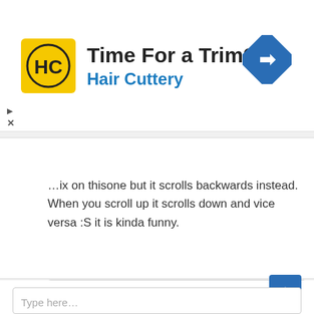[Figure (infographic): Advertisement banner for Hair Cuttery. Yellow square logo with HC initials, headline 'Time For a Trim?' and brand name 'Hair Cuttery' in blue. Blue diamond navigation icon on right. Small play and close controls on left side.]
...fix on thisone but it scrolls backwards instead. When you scroll up it scrolls down and vice versa :S it is kinda funny.
Reply
Leave a Comment
Your email address will not be published. Required fields are marked *